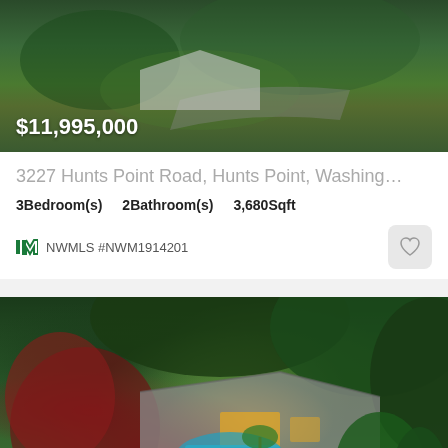[Figure (photo): Aerial view of luxury home with green lawns and landscaping, price overlay showing $11,995,000]
$11,995,000
3227 Hunts Point Road, Hunts Point, Washing…
3Bedroom(s)   2Bathroom(s)   3,680Sqft
NWMLS #NWM1914201
[Figure (photo): Aerial twilight view of luxury home with pool, outdoor living areas, surrounded by lush trees and landscaping]